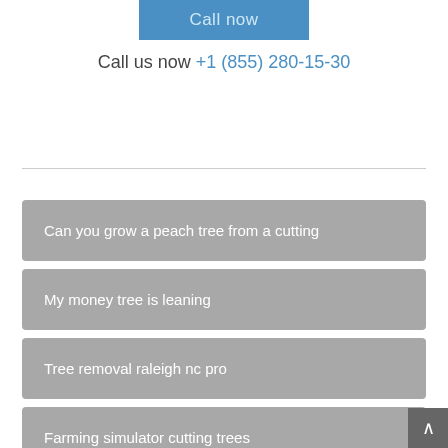Call now
Call us now +1 (855) 280-15-30
Can you grow a peach tree from a cutting
My money tree is leaning
Tree removal raleigh nc pro
Farming simulator cutting trees
Stump grinder services sonora ca